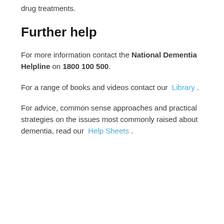drug treatments.
Further help
For more information contact the National Dementia Helpline on 1800 100 500.
For a range of books and videos contact our Library .
For advice, common sense approaches and practical strategies on the issues most commonly raised about dementia, read our Help Sheets .